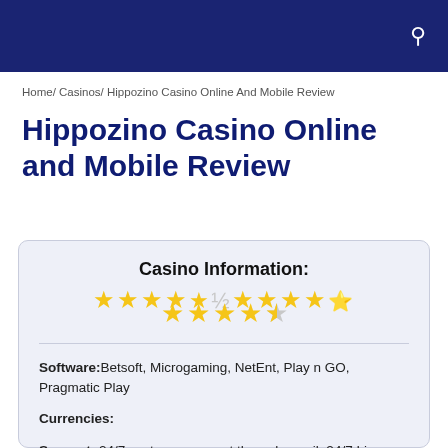Hippozino Casino Online And Mobile Review [search icon]
Home/ Casinos/ Hippozino Casino Online And Mobile Review
Hippozino Casino Online and Mobile Review
Casino Information:
★★★★½
Software: Betsoft, Microgaming, NetEnt, Play n GO, Pragmatic Play
Currencies:
Support: 24/7 customer support through email, 24/7 Live Chat